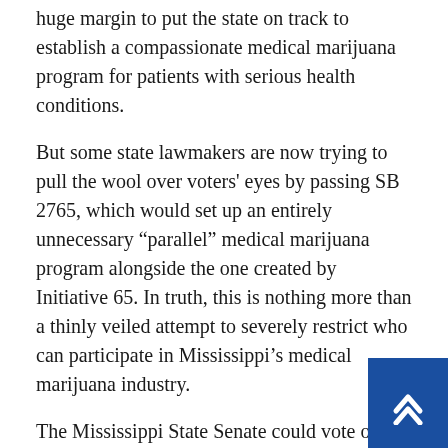huge margin to put the state on track to establish a compassionate medical marijuana program for patients with serious health conditions.
But some state lawmakers are now trying to pull the wool over voters' eyes by passing SB 2765, which would set up an entirely unnecessary “parallel” medical marijuana program alongside the one created by Initiative 65. In truth, this is nothing more than a thinly veiled attempt to severely restrict who can participate in Mississippi’s medical marijuana industry.
The Mississippi State Senate could vote on SB 2765 as soon as tomorrow. Please take action right now by asking your state senator to vote NO.
Click here to contact your state senator right now
Though backers of SB 2765 claim that they are protecting the will of the voters, this legislation differs significantly